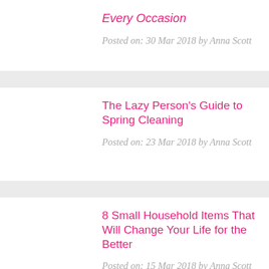Every Occasion
Posted on: 30 Mar 2018 by Anna Scott
The Lazy Person's Guide to Spring Cleaning
Posted on: 23 Mar 2018 by Anna Scott
8 Small Household Items That Will Change Your Life for the Better
Posted on: 15 Mar 2018 by Anna Scott